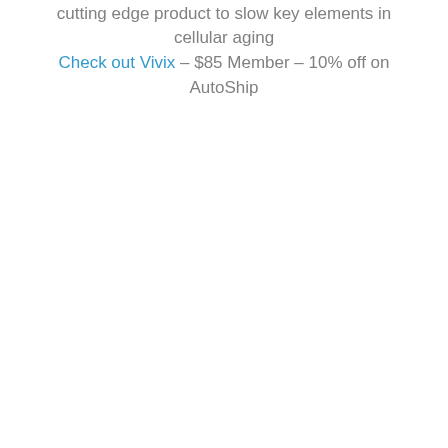cutting edge product to slow key elements in cellular aging
Check out Vivix – $85 Member – 10% off on AutoShip